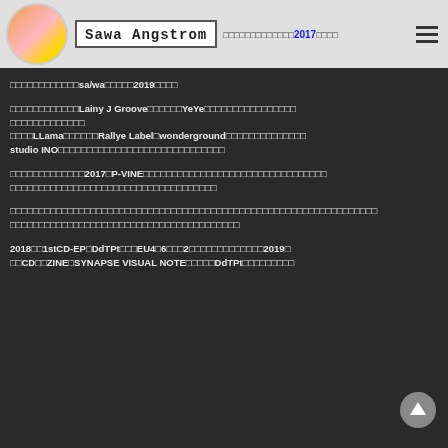Sawa Angstrom — [Japanese text] 2017 [Japanese text]
[Japanese text]sa/wa[Japanese text]2019[Japanese text]
[Japanese text]Lainy J Groove[Japanese text]YeYe[Japanese text]
[Japanese text]
[Japanese text]LLama[Japanese text]Rallye Label・wonderground[Japanese text]
studio INO[Japanese text]
[Japanese text]2017年P-VINE[Japanese text]
[Japanese text]
[Japanese text]
[Japanese text]
2018年に1stCD-EP「DdTPt」をEU4カ国6都市に2[Japanese text]2019年
[Japanese text]CD[Japanese text]ZINE「SYNAPSE VISUAL NOTE」[Japanese text]DdTPt[Japanese text]